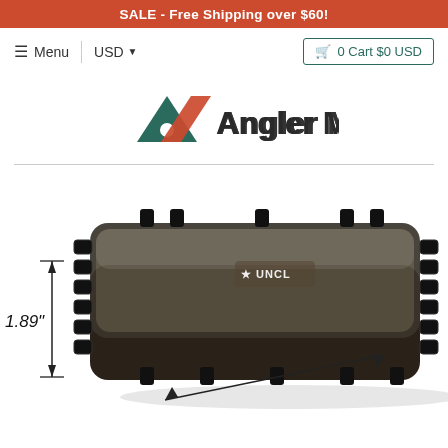SALE - Free Shipping over $60!
≡ Menu | USD ▾   🛒 0 Cart $0 USD
[Figure (logo): Angler Mall logo with green triangle and orange chevron, text reading Angler Mall]
[Figure (photo): Product photo of a UNCL hard waterproof plastic tackle/gear case in dark smoky black color with rubber latches, shown with measurement dimension arrow indicating 1.89 inch height and diagonal measurement arrow at bottom right]